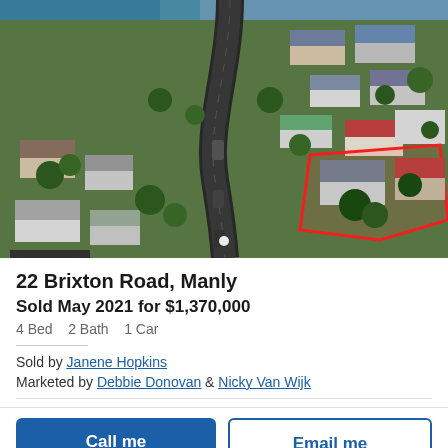[Figure (photo): Aerial drone photograph of a residential neighborhood showing a winding road, houses with various rooftops, trees, and a property outlined in red at the lower right. Blue water visible in the top left background.]
22 Brixton Road, Manly
Sold May 2021 for $1,370,000
4 Bed   2 Bath   1 Car
Sold by Janene Hopkins
Marketed by Debbie Donovan & Nicky Van Wijk